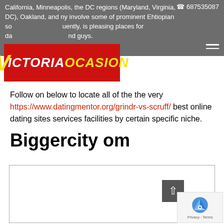California, Minneapolis, the DC regions (Maryland, Virginia, DC), Oakland, and ny involve some of prominent Ehtiopian so... uently, is pleasing places for da... nd guys.
[Figure (logo): VictoriaOcasion logo - red background with yellow V and white/yellow text]
Follow on below to locate all of the the very https://www.datingmentor.org/grindr-vs-scruff/ best online dating sites services facilities by certain specific niche.
Biggercity om
[Figure (other): Empty bordered content box]
[Figure (other): Scroll to top button (up arrow) and reCAPTCHA badge with Privacy and Terms links]